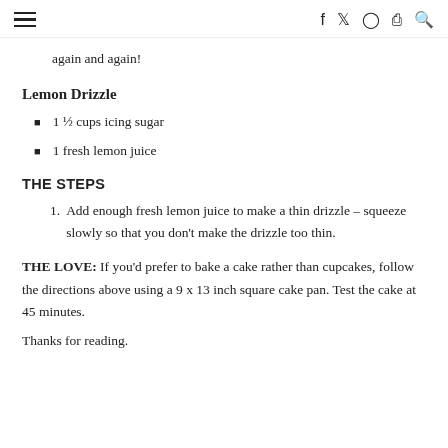≡  f  🐦  📷  ℗  🔍
again and again!
Lemon Drizzle
1 ½ cups icing sugar
1 fresh lemon juice
THE STEPS
Add enough fresh lemon juice to make a thin drizzle – squeeze slowly so that you don't make the drizzle too thin.
THE LOVE: If you'd prefer to bake a cake rather than cupcakes, follow the directions above using a 9 x 13 inch square cake pan. Test the cake at 45 minutes.
Thanks for reading.